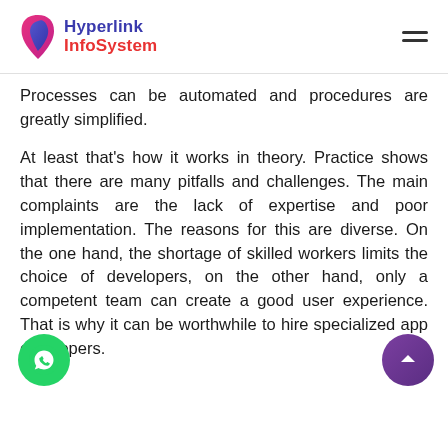Hyperlink InfoSystem
Processes can be automated and procedures are greatly simplified.
At least that's how it works in theory. Practice shows that there are many pitfalls and challenges. The main complaints are the lack of expertise and poor implementation. The reasons for this are diverse. On the one hand, the shortage of skilled workers limits the choice of developers, on the other hand, only a competent team can create a good user experience. That is why it can be worthwhile to hire specialized app developers.